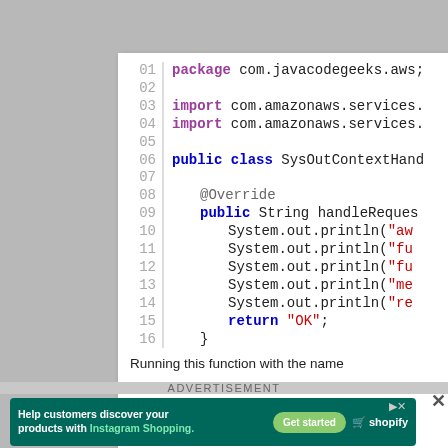[Figure (screenshot): Java code snippet showing a Lambda handler class named SysOutContextHandler with line numbers 01-17. Code includes package declaration, imports from com.amazonaws.services, a public class declaration, an @Override annotation, a public String handleRequest method, System.out.println statements, a return 'OK' statement, and closing braces.]
Running this function with the name
ADVERTISEMENT
[Figure (screenshot): Shopify advertisement banner with dark teal background. Text: 'Help customers discover your products with Instagram Shopping.' Green 'Get started' button and Shopify logo on the right. Play and close buttons visible.]